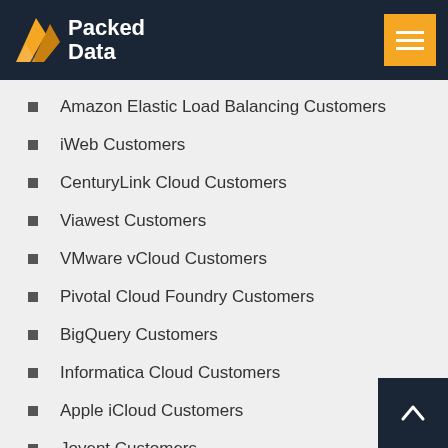Packed Data
Amazon Elastic Load Balancing Customers
iWeb Customers
CenturyLink Cloud Customers
Viawest Customers
VMware vCloud Customers
Pivotal Cloud Foundry Customers
BigQuery Customers
Informatica Cloud Customers
Apple iCloud Customers
Joyent Customers
Azure Functions Customers
SAP Cloud Platform Customers